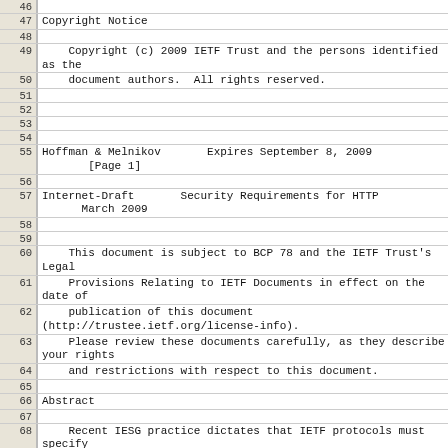46
47  Copyright Notice
48
49      Copyright (c) 2009 IETF Trust and the persons identified as the
50      document authors.  All rights reserved.
51
52
53
54
55  Hoffman & Melnikov       Expires September 8, 2009
             [Page 1]
56
57  Internet-Draft       Security Requirements for HTTP
          March 2009
58
59
60      This document is subject to BCP 78 and the IETF Trust's Legal
61      Provisions Relating to IETF Documents in effect on the date of
62      publication of this document (http://trustee.ietf.org/license-info).
63      Please review these documents carefully, as they describe your rights
64      and restrictions with respect to this document.
65
66  Abstract
67
68      Recent IESG practice dictates that IETF protocols must specify
69      mandatory-to-implement security mechanisms, so that all conformant
70      implementations share a common baseline.  This document examines all